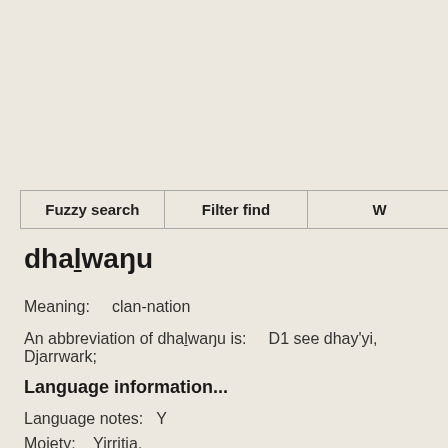| Fuzzy search | Filter find | W... |
| --- | --- | --- |
dhalwanu
Meaning:    clan-nation
An abbreviation of dhalwanu is:    D1 see dhay'yi, Djarrwark;
Language information...
Language notes:    Y
Moiety:    Yirritja,